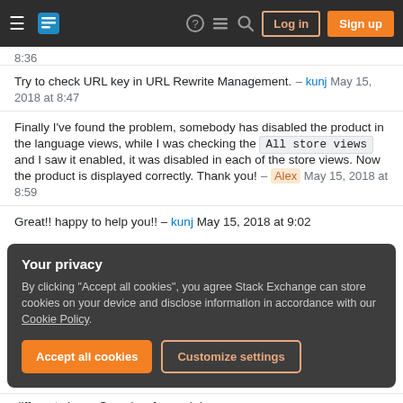Stack Exchange navigation bar with Log in and Sign up buttons
8:36
Try to check URL key in URL Rewrite Management. – kunj May 15, 2018 at 8:47
Finally I've found the problem, somebody has disabled the product in the language views, while I was checking the All store views and I saw it enabled, it was disabled in each of the store views. Now the product is displayed correctly. Thank you! – Alex May 15, 2018 at 8:59
Great!! happy to help you!! – kunj May 15, 2018 at 9:02
Your privacy
By clicking "Accept all cookies", you agree Stack Exchange can store cookies on your device and disclose information in accordance with our Cookie Policy.
different views. One view for each language.